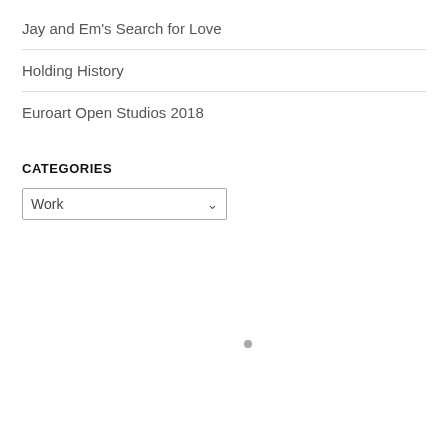Jay and Em’s Search for Love
Holding History
Euroart Open Studios 2018
CATEGORIES
Work